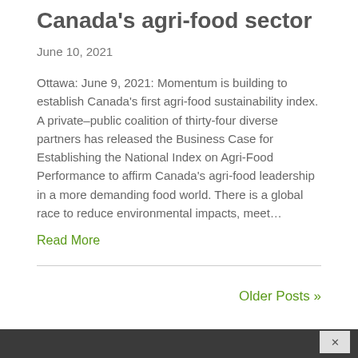Canada's agri-food sector
June 10, 2021
Ottawa: June 9, 2021: Momentum is building to establish Canada's first agri-food sustainability index. A private–public coalition of thirty-four diverse partners has released the Business Case for Establishing the National Index on Agri-Food Performance to affirm Canada's agri-food leadership in a more demanding food world. There is a global race to reduce environmental impacts, meet…
Read More
Older Posts »